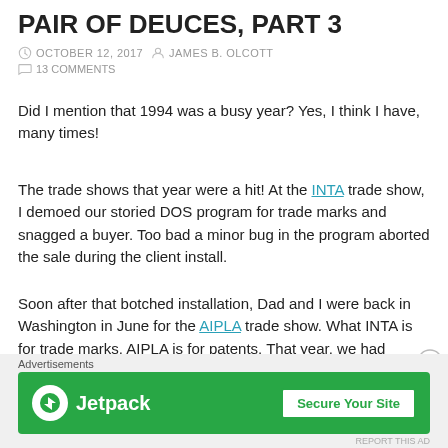PAIR OF DEUCES, PART 3
OCTOBER 12, 2017  JAMES B. OLCOTT  13 COMMENTS
Did I mention that 1994 was a busy year? Yes, I think I have, many times!
The trade shows that year were a hit! At the INTA trade show, I demoed our storied DOS program for trade marks and snagged a buyer. Too bad a minor bug in the program aborted the sale during the client install.
Soon after that botched installation, Dad and I were back in Washington in June for the AIPLA trade show. What INTA is for trade marks, AIPLA is for patents. That year, we had something that set us distinctly apart from the competition.
Advertisements
[Figure (other): Jetpack advertisement banner with green background, Jetpack logo and 'Secure Your Site' button]